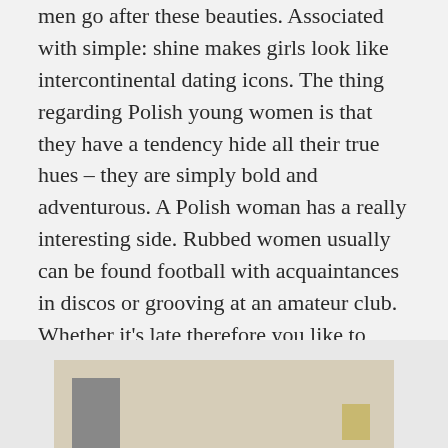men go after these beauties. Associated with simple: shine makes girls look like intercontinental dating icons. The thing regarding Polish young women is that they have a tendency hide all their true hues – they are simply bold and adventurous. A Polish woman has a really interesting side. Rubbed women usually can be found football with acquaintances in discos or grooving at an amateur club. Whether it's late therefore you like to have fun, just question your Enhance girl, she will definitely trust your polish girls sexy proposal.
[Figure (photo): Partial view of a room interior with a tall dark bookcase/shelf on the left and a golden/yellow decorative object on the right, against a light beige wall.]